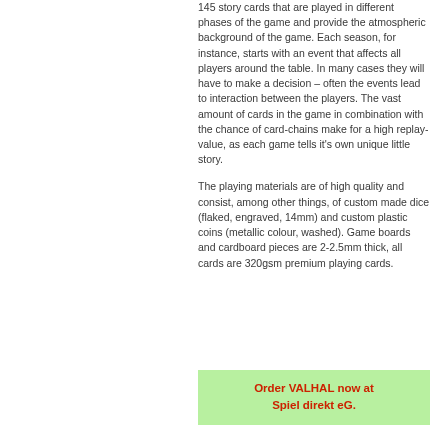145 story cards that are played in different phases of the game and provide the atmospheric background of the game. Each season, for instance, starts with an event that affects all players around the table. In many cases they will have to make a decision – often the events lead to interaction between the players. The vast amount of cards in the game in combination with the chance of card-chains make for a high replay-value, as each game tells it's own unique little story.

The playing materials are of high quality and consist, among other things, of custom made dice (flaked, engraved, 14mm) and custom plastic coins (metallic colour, washed). Game boards and cardboard pieces are 2-2.5mm thick, all cards are 320gsm premium playing cards.
Order VALHAL now at Spiel direkt eG.